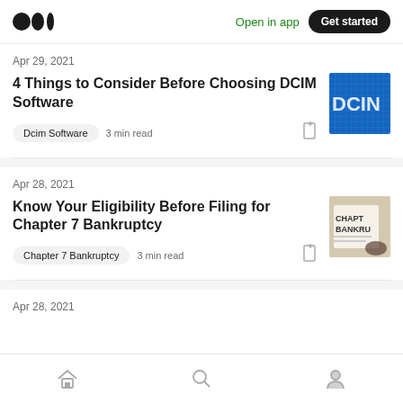Medium logo | Open in app | Get started
Apr 29, 2021
4 Things to Consider Before Choosing DCIM Software
Dcim Software · 3 min read
Apr 28, 2021
Know Your Eligibility Before Filing for Chapter 7 Bankruptcy
Chapter 7 Bankruptcy · 3 min read
Apr 28, 2021
Home | Search | Profile